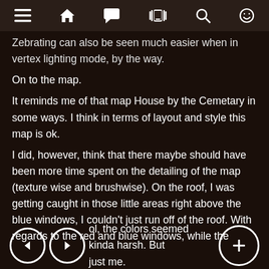[Navigation bar with menu, home, chat, phone, search, emoji icons]
Zebrating can also be seen much easier when in vertex lighting mode, by the way.
On to the map.
It reminds me of that map House by the Cemetary in some ways. I think in terms of layout and style this map is ok.
I did, however, think that there maybe should have been more time spent on the detailing of the map (texture wise and brushwise). On the roof, I was getting caught in those little areas right above the blue windows, I couldn't just run off of the roof. With regards to the red and blue windows, while the [colors] cool, the colors seemed kinda harsh. But [maybe it's] just me.